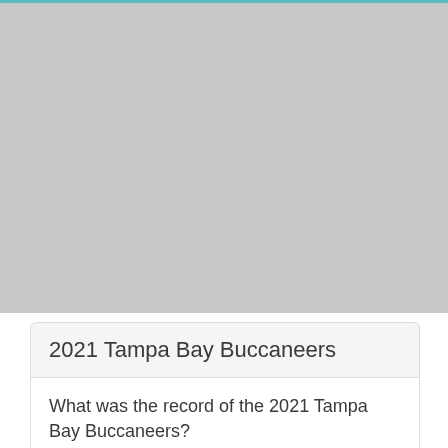[Figure (photo): Large image placeholder (gray rectangle) at the top of the page, representing a photo related to the 2021 Tampa Bay Buccaneers.]
2021 Tampa Bay Buccaneers
What was the record of the 2021 Tampa Bay Buccaneers?